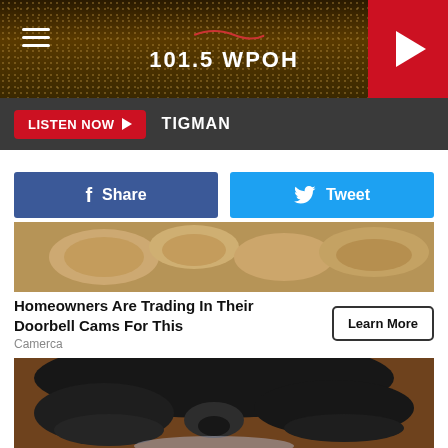101.5 WPOH
LISTEN NOW  TIGMAN
[Figure (screenshot): Facebook Share button (blue) and Twitter Tweet button (cyan)]
[Figure (photo): Close-up photo of bread and garlic cloves on a surface]
Homeowners Are Trading In Their Doorbell Cams For This
Camerca
Learn More
[Figure (photo): Close-up photo of a black dog eating from a bowl]